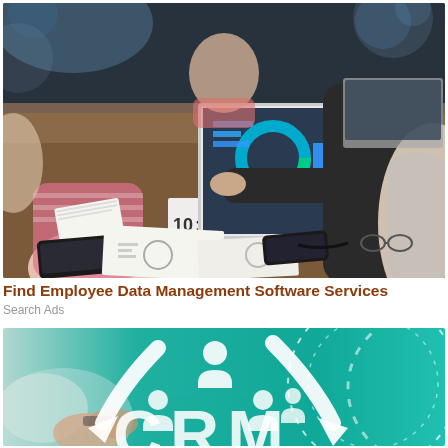[Figure (photo): Business meeting scene: several people around a desk with laptops, papers, and phones. One person holds a laptop showing charts and a donut graph. Clock showing 10:25 visible on desk.]
Find Employee Data Management Software Services
Search Ads
[Figure (photo): Digital CRM concept image with teal/green background, white arrows, and HR/people icons arranged in an org-chart style. Large white text 'CRM' partially visible at bottom.]